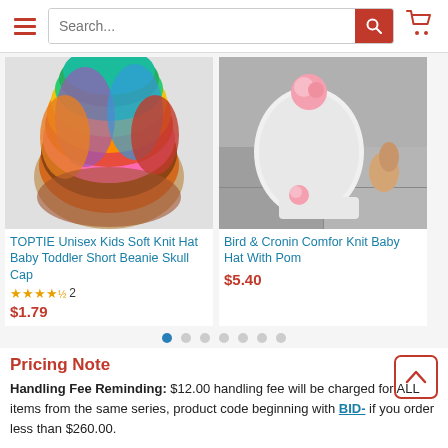[Figure (screenshot): Website navigation bar with hamburger menu, search box, and shopping cart icon]
[Figure (photo): TOPTIE Unisex Kids Soft Knit Hat Baby Toddler Short Beanie Skull Cap – colorful fan of knit beanies]
TOPTIE Unisex Kids Soft Knit Hat Baby Toddler Short Beanie Skull Cap
★★★★½ 2
$1.79
[Figure (photo): Bird & Cronin Comfor Knit Baby Hat With Pom – white knit baby hat with pink pom on model]
Bird & Cronin Comfor Knit Baby Hat With Pom
$5.40
[Figure (other): Pagination dots – 7 dots with first dot active (blue)]
Pricing Note
Handling Fee Reminding:  $12.00 handling fee will be charged for ALL items from the same series, product code beginning with BID- if you order less than  $260.00.